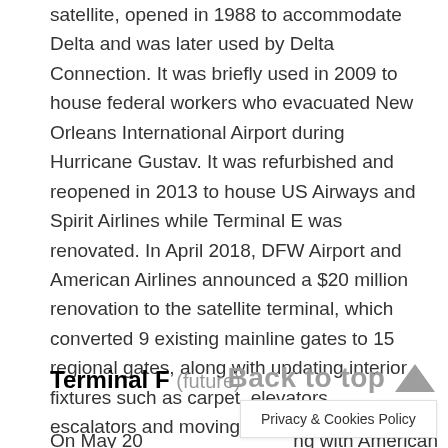satellite, opened in 1988 to accommodate Delta and was later used by Delta Connection. It was briefly used in 2009 to house federal workers who evacuated New Orleans International Airport during Hurricane Gustav. It was refurbished and reopened in 2013 to house US Airways and Spirit Airlines while Terminal E was renovated. In April 2018, DFW Airport and American Airlines announced a $20 million renovation to the satellite terminal, which converted 9 existing mainline gates to 15 regional gates, along with updating interior fixtures such as carpet, elevators, escalators and moving walkways. American planned to have renovations completed by then and was fully moved into the terminal on May 3, 2019.
[Figure (other): Back to top button with upward-pointing triangle arrow, overlaid on the page]
Terminal F (future)
Privacy & Cookies Policy
On May 20...